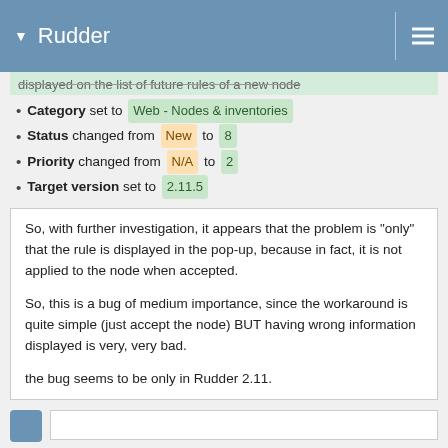Rudder
displayed on the list of future rules of a new node
Category set to Web - Nodes & inventories
Status changed from New to 8
Priority changed from N/A to 2
Target version set to 2.11.5
So, with further investigation, it appears that the problem is "only" that the rule is displayed in the pop-up, because in fact, it is not applied to the node when accepted.

So, this is a bug of medium importance, since the workaround is quite simple (just accept the node) BUT having wrong information displayed is very, very bad.

the bug seems to be only in Rudder 2.11.